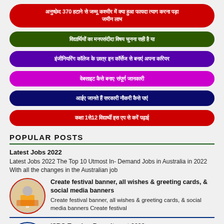[Hindi text - red button 1]
[Hindi text - green button]
[Hindi text - purple button]
[Hindi text - magenta button]
[Hindi text - navy button]
[Hindi text - red button 2 with 1 से 12]
POPULAR POSTS
Latest Jobs 2022
Latest Jobs 2022 The Top 10 Utmost In- Demand Jobs in Australia in 2022 With all the changes in the Australian job
[Figure (illustration): Circular thumbnail image with red border showing festive Indian illustration]
Create festival banner, all wishes & greeting cards, & social media banners
Create festival banner, all wishes & greeting cards, & social media banners Create festival
[Figure (illustration): Circular thumbnail image with blue border showing ISRO/government building illustration]
ISRO Teacher Recruitment 2022.